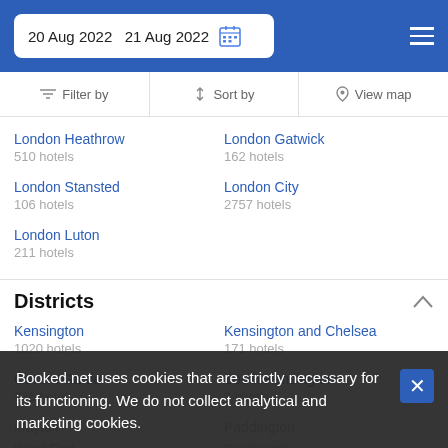20 Aug 2022  21 Aug 2022
Filter by
Sort by
View map
London Heathrow
510 hotels
London Gatwick
162 hotels
London Stansted
106 hotels
London City
2757 hotels
London Luton
211 hotels
Districts
Kensington
1020 hotels
Kensington and Chelsea
171 hotels
Covent Garden
236 hotels
South Kensington
3 hotels
Mayfair
Paddington
West End
51 hotels
Southwark
530 hotels
Booked.net uses cookies that are strictly necessary for its functioning. We do not collect analytical and marketing cookies.